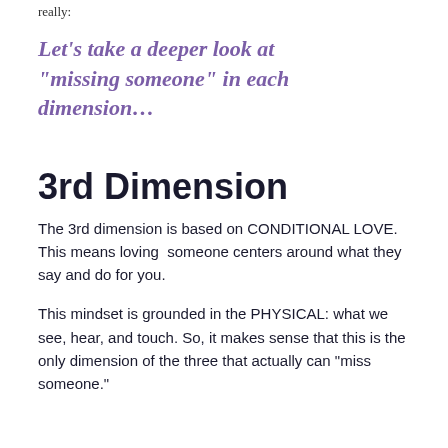really:
Let’s take a deeper look at “missing someone” in each dimension…
3rd Dimension
The 3rd dimension is based on CONDITIONAL LOVE. This means loving someone centers around what they say and do for you.
This mindset is grounded in the PHYSICAL: what we see, hear, and touch. So, it makes sense that this is the only dimension of the three that actually can “miss someone.”